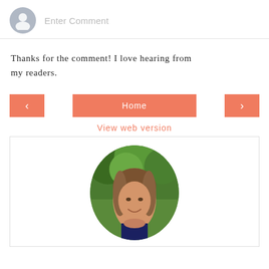Enter Comment
Thanks for the comment! I love hearing from my readers.
[Figure (screenshot): Navigation row with left arrow button, Home button, and right arrow button, all in salmon/coral color]
View web version
[Figure (photo): Circular profile photo of a smiling woman with brown hair, outdoors with green trees in background]